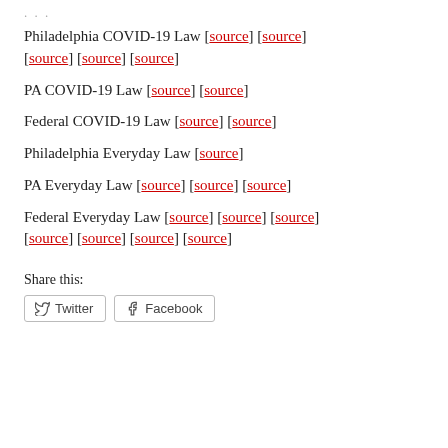Philadelphia COVID-19 Law [source] [source] [source] [source] [source]
PA COVID-19 Law [source] [source]
Federal COVID-19 Law [source] [source]
Philadelphia Everyday Law [source]
PA Everyday Law [source] [source] [source]
Federal Everyday Law [source] [source] [source] [source] [source] [source] [source]
Share this:
Twitter  Facebook